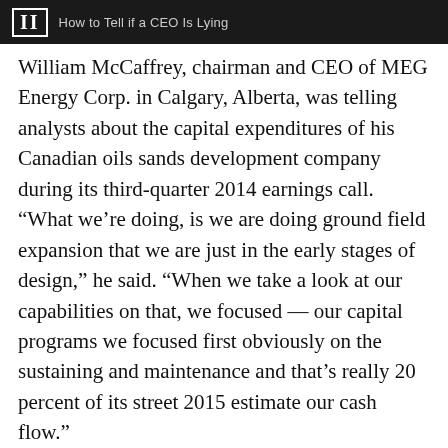II  How to Tell if a CEO Is Lying
William McCaffrey, chairman and CEO of MEG Energy Corp. in Calgary, Alberta, was telling analysts about the capital expenditures of his Canadian oils sands development company during its third-quarter 2014 earnings call. “What we’re doing, is we are doing ground field expansion that we are just in the early stages of design,” he said. “When we take a look at our capabilities on that, we focused — our capital programs we focused first obviously on the sustaining and maintenance and that’s really 20 percent of its street 2015 estimate our cash flow.”
[Figure (screenshot): Dark video thumbnail with Institutional Investor logo watermark in the center]